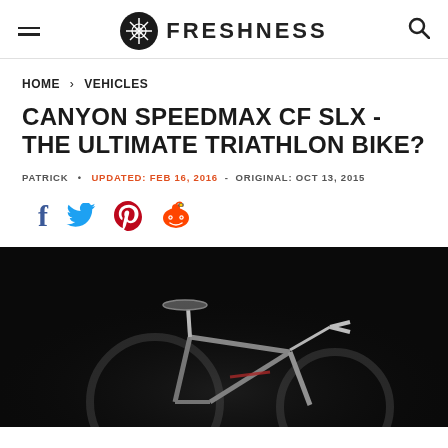FRESHNESS
HOME > VEHICLES
CANYON SPEEDMAX CF SLX - THE ULTIMATE TRIATHLON BIKE?
PATRICK • UPDATED: FEB 16, 2016 - ORIGINAL: OCT 13, 2015
[Figure (infographic): Social share icons: Facebook (f), Twitter (bird), Pinterest (P), Reddit (alien)]
[Figure (photo): Dark background photo of Canyon Speedmax CF SLX triathlon bike, showing saddle, frame and aerobars, with dramatic studio lighting against black background]